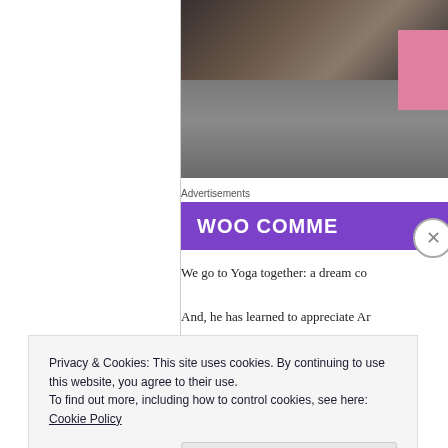[Figure (photo): Photo of a person in a black shirt and gray pants, with a pink element visible on the right side]
Advertisements
[Figure (logo): WooCommerce logo banner with purple background and white text reading 'WOO COMME']
We go to Yoga together: a dream co
And, he has learned to appreciate Ar
Privacy & Cookies: This site uses cookies. By continuing to use this website, you agree to their use.
To find out more, including how to control cookies, see here: Cookie Policy
Close and accept